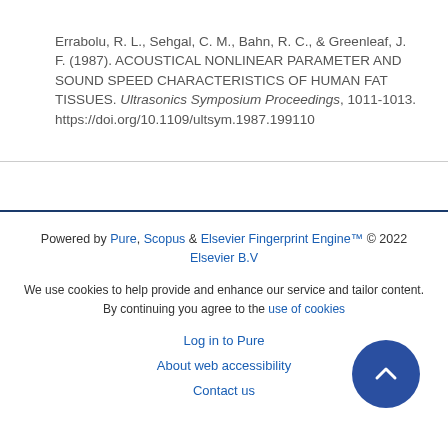Errabolu, R. L., Sehgal, C. M., Bahn, R. C., & Greenleaf, J. F. (1987). ACOUSTICAL NONLINEAR PARAMETER AND SOUND SPEED CHARACTERISTICS OF HUMAN FAT TISSUES. Ultrasonics Symposium Proceedings, 1011-1013. https://doi.org/10.1109/ultsym.1987.199110
Powered by Pure, Scopus & Elsevier Fingerprint Engine™ © 2022 Elsevier B.V
We use cookies to help provide and enhance our service and tailor content. By continuing you agree to the use of cookies
Log in to Pure
About web accessibility
Contact us